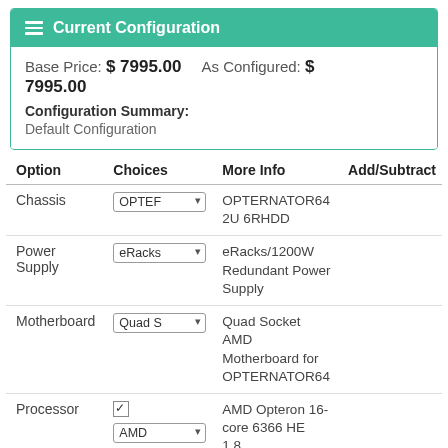Current Configuration
Base Price: $ 7995.00    As Configured: $ 7995.00
Configuration Summary:
Default Configuration
| Option | Choices | More Info | Add/Subtract |
| --- | --- | --- | --- |
| Chassis | OPTER... | OPTERNATOR64 2U 6RHDD |  |
| Power Supply | eRacks... | eRacks/1200W Redundant Power Supply |  |
| Motherboard | Quad S... | Quad Socket AMD Motherboard for OPTERNATOR64 |  |
| Processor | [checkbox] AMD... | AMD Opteron 16-core 6366 HE 1.8... |  |